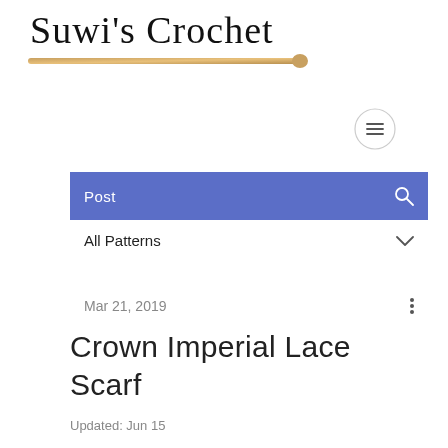[Figure (logo): Suwi's Crochet handwritten script logo with a crochet hook image below]
[Figure (other): Hamburger menu icon inside a circle]
Post
All Patterns
Mar 21, 2019
Crown Imperial Lace Scarf
Updated: Jun 15